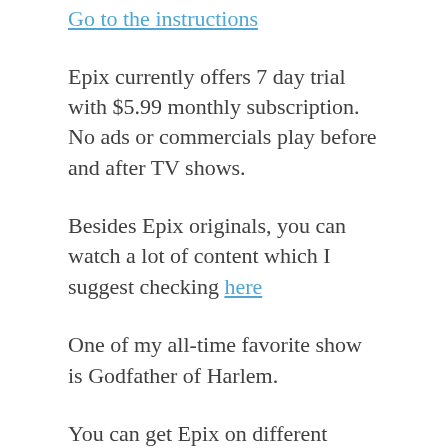Go to the instructions
Epix currently offers 7 day trial with $5.99 monthly subscription. No ads or commercials play before and after TV shows.
Besides Epix originals, you can watch a lot of content which I suggest checking here
One of my all-time favorite show is Godfather of Harlem.
You can get Epix on different devices such as Roku, Android, iOS, Firestick, Samsung